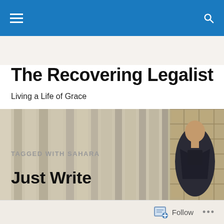Navigation bar with hamburger menu and search icon
The Recovering Legalist
Living a Life of Grace
[Figure (photo): Man in dark blazer standing among large stone columns of a classical building, viewed from below at an angle]
TAGGED WITH SAHARA
Just Write
Follow  •••